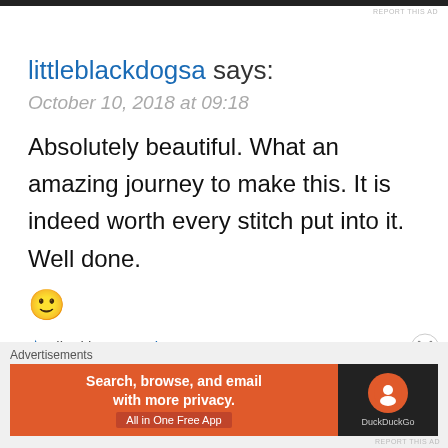REPORT THIS AD
littleblackdogsa says:
October 10, 2018 at 09:18
Absolutely beautiful. What an amazing journey to make this. It is indeed worth every stitch put into it. Well done.
🙂
★ Liked by 2 people
REPLY
Advertisements
[Figure (screenshot): DuckDuckGo advertisement banner: orange section with text 'Search, browse, and email with more privacy.' and 'All in One Free App', dark section with DuckDuckGo logo and name]
REPORT THIS AD